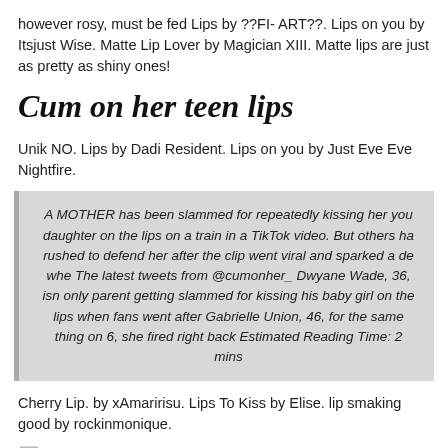however rosy, must be fed Lips by ??FI- ART??. Lips on you by Itsjust Wise. Matte Lip Lover by Magician XIII. Matte lips are just as pretty as shiny ones!
Cum on her teen lips
Unik NO. Lips by Dadi Resident. Lips on you by Just Eve Eve Nightfire.
A MOTHER has been slammed for repeatedly kissing her young daughter on the lips on a train in a TikTok video. But others have rushed to defend her after the clip went viral and sparked a debate whe The latest tweets from @cumonher_ Dwyane Wade, 36, isn't only parent getting slammed for kissing his baby girl on the lips when fans went after Gabrielle Union, 46, for the same thing on 6, she fired right back Estimated Reading Time: 2 mins
Cherry Lip. by xAmaririsu. Lips To Kiss by Elise. lip smaking good by rockinmonique.